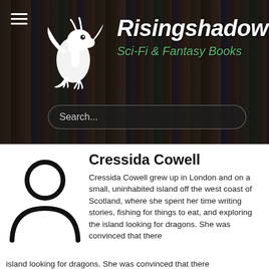[Figure (screenshot): Risingshadow website header banner with bookshelf background, dragon logo, site title 'Risingshadow' and subtitle 'Sci-Fi & Fantasy Books', hamburger menu icon, and search bar]
[Figure (illustration): Generic person/user silhouette icon in black on white background]
Cressida Cowell
Cressida Cowell grew up in London and on a small, uninhabited island off the west coast of Scotland, where she spent her time writing stories, fishing for things to eat, and exploring the island looking for dragons. She was convinced that there